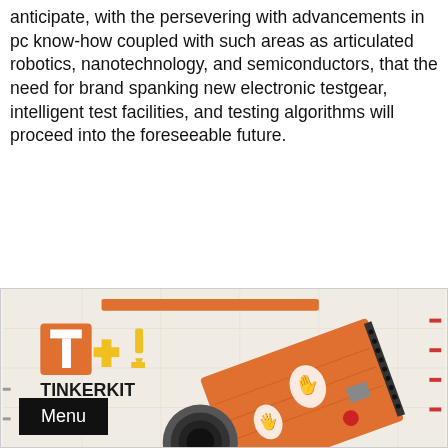anticipate, with the persevering with advancements in pc know-how coupled with such areas as articulated robotics, nanotechnology, and semiconductors, that the need for brand spanking new electronic testgear, intelligent test facilities, and testing algorithms will proceed into the foreseeable future.
[Figure (photo): Tinkerkit DMX Master Shield product packaging showing the Tinkerkit logo (orange T, yellow plus sign, yellow exclamation mark) and an orange Arduino-compatible shield board with connectors and icons.]